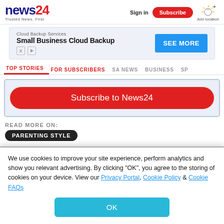news24 | Trusted News. First | Sign in | Subscribe | Add location
[Figure (screenshot): Advertisement banner: Cloud Backup Services - Small Business Cloud Backup - SEE MORE button]
TOP STORIES | FOR SUBSCRIBERS | SA NEWS | BUSINESS | SP...
Subscribe to News24
READ MORE ON:
PARENTING STYLE
We use cookies to improve your site experience, perform analytics and show you relevant advertising. By clicking "OK", you agree to the storing of cookies on your device. View our Privacy Portal, Cookie Policy & Cookie FAQs
OK